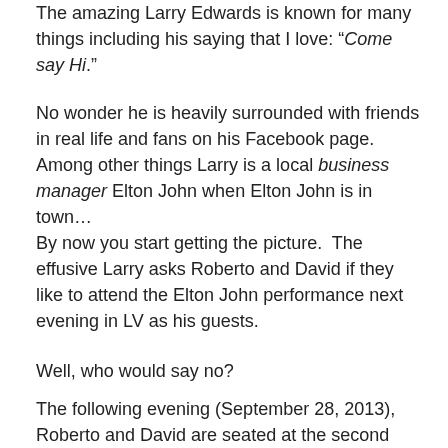The amazing Larry Edwards is known for many things including his saying that I love: “Come say Hi.”
No wonder he is heavily surrounded with friends in real life and fans on his Facebook page.  Among other things Larry is a local business manager Elton John when Elton John is in town…
By now you start getting the picture.  The effusive Larry asks Roberto and David if they like to attend the Elton John performance next evening in LV as his guests.
Well, who would say no?
The following evening (September 28, 2013), Roberto and David are seated at the second row, front and center to Elton John and his million dollar piano.
Roberto and David get to bump fists with Elton John